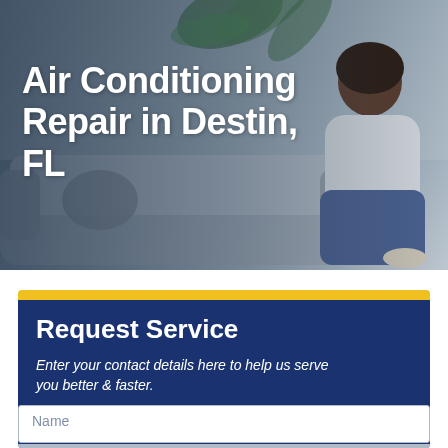[Figure (photo): Hero banner image of a woman relaxing on a grey couch with a palm plant in the background, with a dark overlay and large white bold text overlay reading 'Air Conditioning Repair in Destin, FL']
Air Conditioning Repair in Destin, FL
Request Service
Enter your contact details here to help us serve you better & faster.
Name